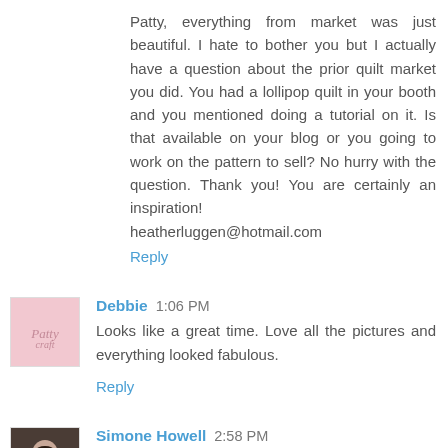Patty, everything from market was just beautiful. I hate to bother you but I actually have a question about the prior quilt market you did. You had a lollipop quilt in your booth and you mentioned doing a tutorial on it. Is that available on your blog or you going to work on the pattern to sell? No hurry with the question. Thank you! You are certainly an inspiration!
heatherluggen@hotmail.com
Reply
Debbie  1:06 PM
Looks like a great time. Love all the pictures and everything looked fabulous.
Reply
Simone Howell  2:58 PM
Wow, Patty! Everything looked gorgeous.....and that yellow dress!!! LOVE! Congrats on what looks like another